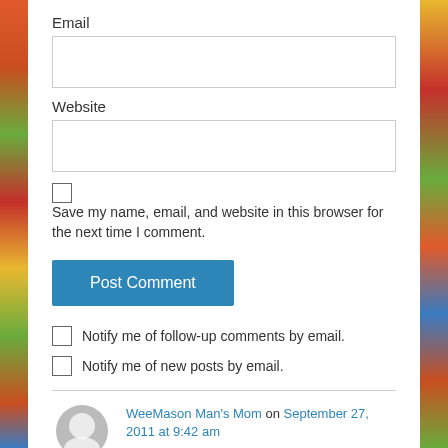Email
Website
Save my name, email, and website in this browser for the next time I comment.
Post Comment
Notify me of follow-up comments by email.
Notify me of new posts by email.
WeeMason Man's Mom on September 27, 2011 at 9:42 am
Cole-bonics made me seriously LOL